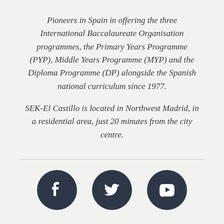Pioneers in Spain in offering the three International Baccalaureate Organisation programmes, the Primary Years Programme (PYP), Middle Years Programme (MYP) and the Diploma Programme (DP) alongside the Spanish national curriculum since 1977.
SEK-El Castillo is located in Northwest Madrid, in a residential area, just 20 minutes from the city centre.
[Figure (illustration): Three dark circular social media icons: Facebook (f), Twitter (bird), YouTube (play button)]